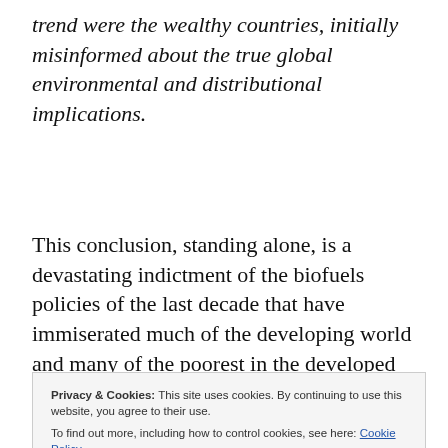trend were the wealthy countries, initially misinformed about the true global environmental and distributional implications.
This conclusion, standing alone, is a devastating indictment of the biofuels policies of the last decade that have immiserated much of the developing world and many of the poorest in the developed world for the benefit of a
commodities markets, with the fervent support of many